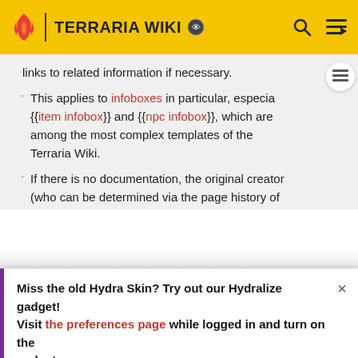TERRARIA WIKI
links to related information if necessary.
This applies to infoboxes in particular, especially {{item infobox}} and {{npc infobox}}, which are among the most complex templates of the Terraria Wiki.
If there is no documentation, the original creator (who can be determined via the page history of the template) is responsible for writing it.
Miss the old Hydra Skin? Try out our Hydralize gadget! Visit the preferences page while logged in and turn on the gadget.
[Figure (screenshot): Seamless food delivery advertisement banner with pizza image, red Seamless button, and ORDER NOW button]